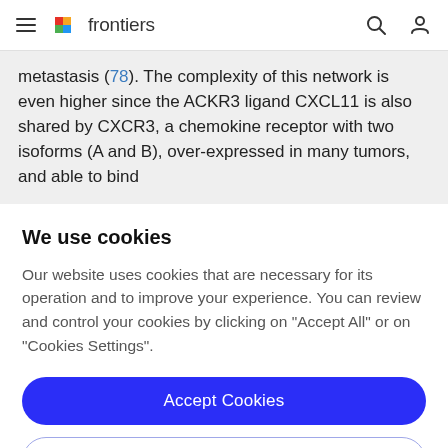frontiers
metastasis (78). The complexity of this network is even higher since the ACKR3 ligand CXCL11 is also shared by CXCR3, a chemokine receptor with two isoforms (A and B), over-expressed in many tumors, and able to bind
We use cookies
Our website uses cookies that are necessary for its operation and to improve your experience. You can review and control your cookies by clicking on "Accept All" or on "Cookies Settings".
Accept Cookies
Cookies Settings